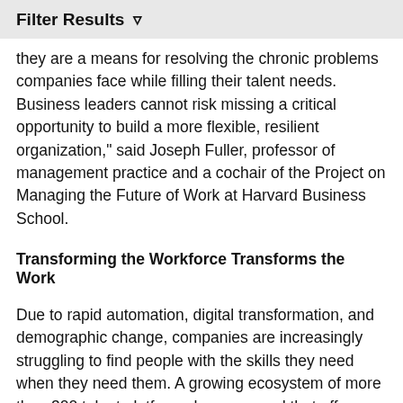Filter Results
they are a means for resolving the chronic problems companies face while filling their talent needs. Business leaders cannot risk missing a critical opportunity to build a more flexible, resilient organization," said Joseph Fuller, professor of management practice and a cochair of the Project on Managing the Future of Work at Harvard Business School.
Transforming the Workforce Transforms the Work
Due to rapid automation, digital transformation, and demographic change, companies are increasingly struggling to find people with the skills they need when they need them. A growing ecosystem of more than 300 talent platforms has emerged that offer